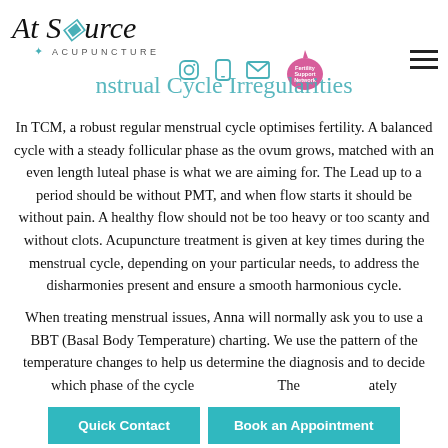At Source Acupuncture — Menstrual Cycle Irregularities
In TCM, a robust regular menstrual cycle optimises fertility. A balanced cycle with a steady follicular phase as the ovum grows, matched with an even length luteal phase is what we are aiming for. The Lead up to a period should be without PMT, and when flow starts it should be without pain. A healthy flow should not be too heavy or too scanty and without clots. Acupuncture treatment is given at key times during the menstrual cycle, depending on your particular needs, to address the disharmonies present and ensure a smooth harmonious cycle.
When treating menstrual issues, Anna will normally ask you to use a BBT (Basal Body Temperature) charting. We use the pattern of the temperature changes to help us determine the diagnosis and to decide which phase of the cycle... The...ately